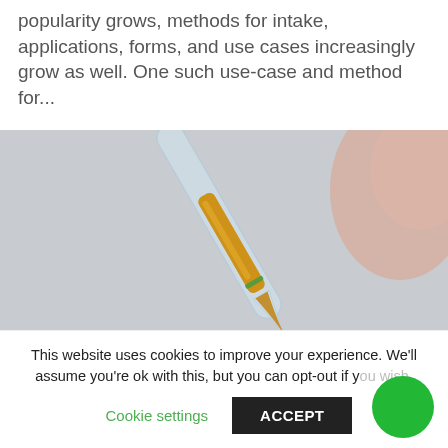popularity grows, methods for intake, applications, forms, and use cases increasingly grow as well. One such use-case and method for...
[Figure (photo): Close-up photo of a glass dropper pipette filled with amber/golden oil (likely CBD oil), tilted diagonally against a light grey background, with a blurred skin-tone object in the upper right corner.]
This website uses cookies to improve your experience. We'll assume you're ok with this, but you can opt-out if y...